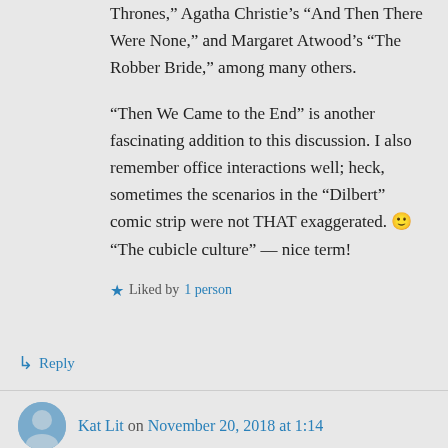Thrones," Agatha Christie’s “And Then There Were None,” and Margaret Atwood’s “The Robber Bride,” among many others.
“Then We Came to the End” is another fascinating addition to this discussion. I also remember office interactions well; heck, sometimes the scenarios in the “Dilbert” comic strip were not THAT exaggerated. 🙂 “The cubicle culture” — nice term!
★ Liked by 1 person
↳ Reply
Kat Lit on November 20, 2018 at 1:14